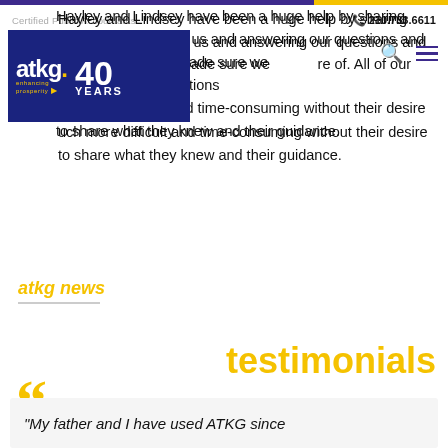Certified Public Accountants | 210.733.6611
[Figure (logo): ATKG logo with '40 YEARS' text on dark blue background]
Hayley and Lindsey have been a huge help by sharing their knowledge with us and answering our questions and concerns. They've made sure we [are] of. All of our transitions [would have been] much more difficult and time-consuming without their desire to share what they knew and their guidance.
atkg news
testimonials
“My father and I have used ATKG since